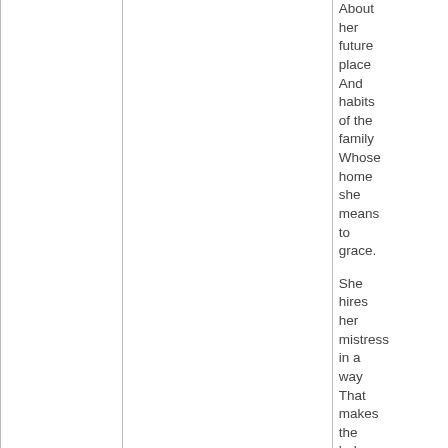About her future place And habits of the family Whose home she means to grace.

She hires her mistress in a way That makes the lady stare, And puts her through her facings With a deal of nouse and care.